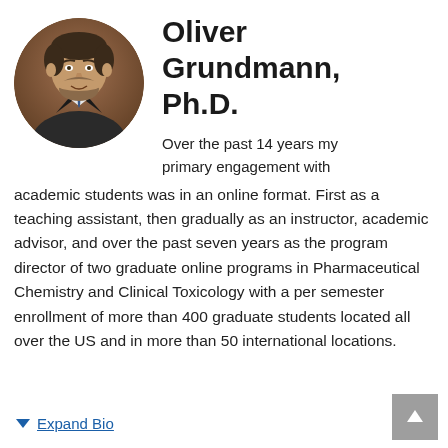[Figure (photo): Circular headshot of Oliver Grundmann, a man with beard wearing a suit and tie, brown background]
Oliver Grundmann, Ph.D.
Over the past 14 years my primary engagement with academic students was in an online format. First as a teaching assistant, then gradually as an instructor, academic advisor, and over the past seven years as the program director of two graduate online programs in Pharmaceutical Chemistry and Clinical Toxicology with a per semester enrollment of more than 400 graduate students located all over the US and in more than 50 international locations.
Expand Bio